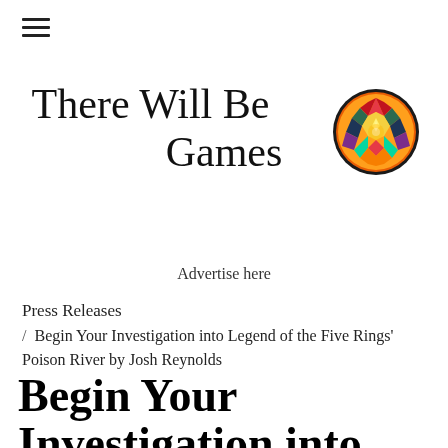[Figure (logo): Hamburger menu icon (three horizontal lines)]
There Will Be Games
[Figure (logo): Circular colorful stained-glass style logo with geometric kaleidoscope pattern in red, orange, yellow, green, blue, and purple colors with a dark border]
Advertise here
Press Releases / Begin Your Investigation into Legend of the Five Rings' Poison River by Josh Reynolds
Begin Your Investigation into Legend of the Five